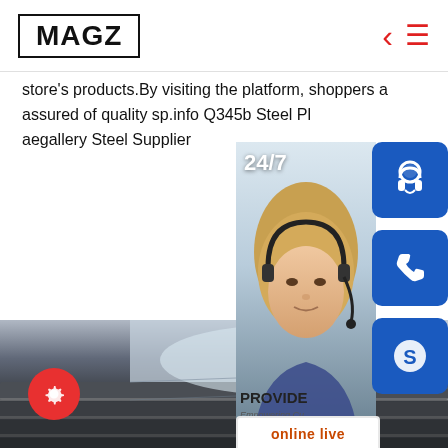MAGZ
store's products.By visiting the platform, shoppers assured of quality sp.info Q345b Steel Pla aegallery Steel Supplier
[Figure (screenshot): Customer service widget overlay with 24/7 label, headset operator photo, three icon buttons (headset, phone, Skype), PROVIDE / Empowering Customers text, and online live button]
[Figure (photo): Stack of dark steel plates photographed from a low angle showing layered edges]